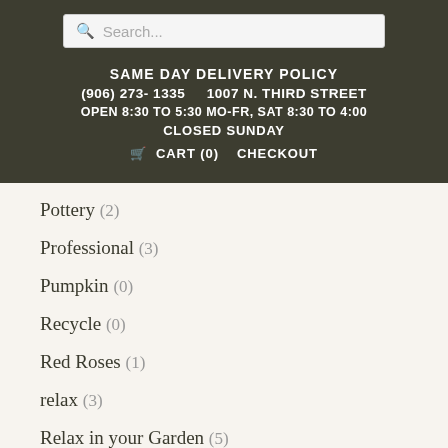Search...
SAME DAY DELIVERY POLICY
(906) 273- 1335    1007 N. THIRD STREET
OPEN 8:30 TO 5:30 MO-FR, SAT 8:30 TO 4:00
CLOSED SUNDAY
🛒 CART (0)   CHECKOUT
Pottery (2)
Professional (3)
Pumpkin (0)
Recycle (0)
Red Roses (1)
relax (3)
Relax in your Garden (5)